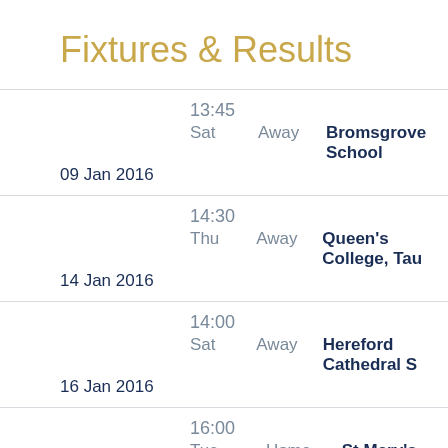Fixtures & Results
| Time | Day | Venue | Opponent | Date |
| --- | --- | --- | --- | --- |
| 13:45 | Sat | Away | Bromsgrove School | 09 Jan 2016 |
| 14:30 | Thu | Away | Queen's College, Tau | 14 Jan 2016 |
| 14:00 | Sat | Away | Hereford Cathedral S | 16 Jan 2016 |
| 16:00 | Tue | Home | St Mary's Calne |  |